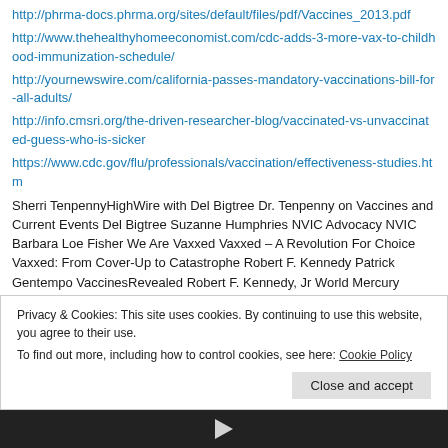http://phrma-docs.phrma.org/sites/default/files/pdf/Vaccines_2013.pdf
http://www.thehealthyhomeeconomist.com/cdc-adds-3-more-vax-to-childhood-immunization-schedule/
http://yournewswire.com/california-passes-mandatory-vaccinations-bill-for-all-adults/
http://info.cmsri.org/the-driven-researcher-blog/vaccinated-vs-unvaccinated-guess-who-is-sicker
https://www.cdc.gov/flu/professionals/vaccination/effectiveness-studies.htm
Sherri TenpennyHighWire with Del Bigtree Dr. Tenpenny on Vaccines and Current Events Del Bigtree Suzanne Humphries NVIC Advocacy NVIC Barbara Loe Fisher We Are Vaxxed Vaxxed – A Revolution For Choice Vaxxed: From Cover-Up to Catastrophe Robert F. Kennedy Patrick Gentempo VaccinesRevealed Robert F. Kennedy, Jr World Mercury Project David Wolfe Norman Colby Dr. Michael B. Dibley Jack Wolfson Jodi Hauver Dr. Wakefield's work must continue
Privacy & Cookies: This site uses cookies. By continuing to use this website, you agree to their use.
To find out more, including how to control cookies, see here: Cookie Policy
Close and accept
[Figure (photo): Bottom strip showing a dark video thumbnail with a play button]